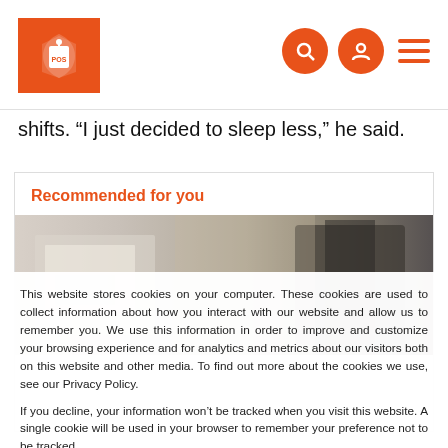POS logo and navigation icons
shifts. “I just decided to sleep less,” he said.
[Figure (screenshot): Recommended for you section with blurred image of what appears to be a retail/POS counter environment]
This website stores cookies on your computer. These cookies are used to collect information about how you interact with our website and allow us to remember you. We use this information in order to improve and customize your browsing experience and for analytics and metrics about our visitors both on this website and other media. To find out more about the cookies we use, see our Privacy Policy.
If you decline, your information won’t be tracked when you visit this website. A single cookie will be used in your browser to remember your preference not to be tracked.